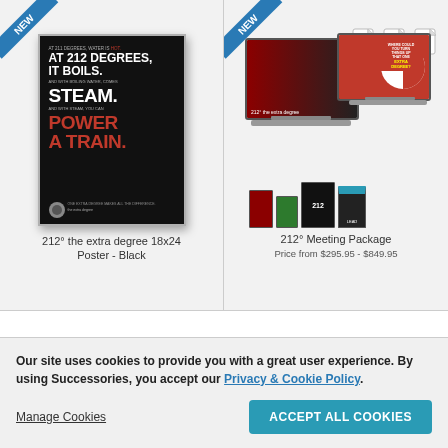[Figure (photo): Product listing grid with two items. Left: 212° the extra degree 18x24 Poster in Black with NEW ribbon. Right: 212° Meeting Package with NEW ribbon and file format icons (AVI, MOV, PDF).]
212° the extra degree 18x24 Poster - Black
212° Meeting Package Price from $295.95 - $849.95
Our site uses cookies to provide you with a great user experience. By using Successories, you accept our Privacy & Cookie Policy.
Manage Cookies
ACCEPT ALL COOKIES